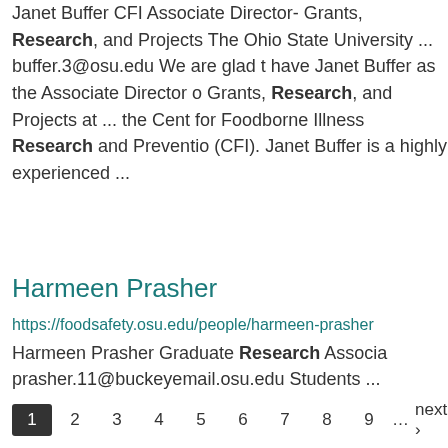Janet Buffer CFI Associate Director- Grants, Research, and Projects The Ohio State University ... buffer.3@osu.edu We are glad to have Janet Buffer as the Associate Director of Grants, Research, and Projects at ... the Center for Foodborne Illness Research and Prevention (CFI). Janet Buffer is a highly experienced ...
Harmeen Prasher
https://foodsafety.osu.edu/people/harmeen-prasher
Harmeen Prasher Graduate Research Associate ... prasher.11@buckeyemail.osu.edu Students ...
1 2 3 4 5 6 7 8 9 ... next › la